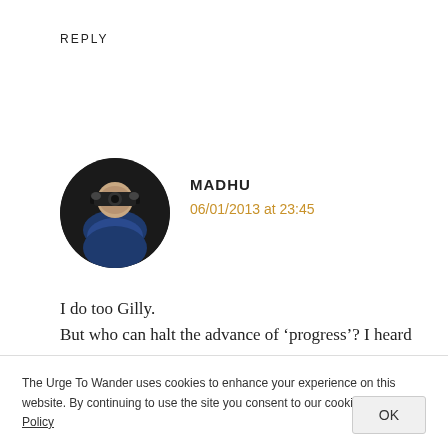REPLY
[Figure (photo): Circular avatar photo of a woman holding a camera, wearing sunglasses and a blue top, against a dark background.]
MADHU
06/01/2013 at 23:45
I do too Gilly.
But who can halt the advance of ‘progress’? I heard people are cashing in on the property boom and moving out. If that becomes an exodus, the monks are sure to follow. Hope someone high up has the
The Urge To Wander uses cookies to enhance your experience on this website. By continuing to use the site you consent to our cookies. Privacy Policy
OK